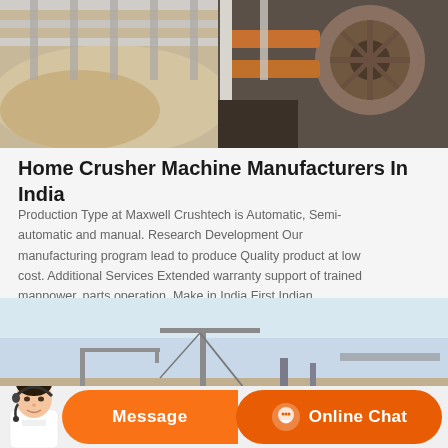[Figure (photo): Close-up photo of industrial crusher machine parts — conveyor belts, metal grates, and mechanical components with sand/stone material]
Home Crusher Machine Manufacturers In India
Production Type at Maxwell Crushtech is Automatic, Semi-automatic and manual. Research Development Our manufacturing program lead to produce Quality product at low cost. Additional Services Extended warranty support of trained manpower, parts operation. Make in India First Indian manufacturer with 100% in house technology sourcing.
[Figure (photo): Outdoor photo of industrial crusher/mining equipment against a light sky, with construction crane visible]
[Figure (photo): Customer service agent (woman with headset) used as decoration beside message/chat buttons]